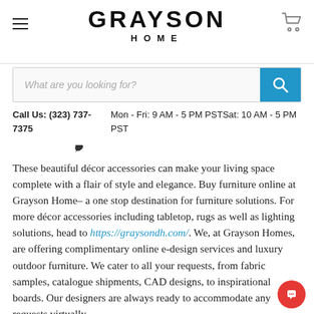GRAYSON HOME
What are you looking for?
Call Us: (323) 737-7375   Mon - Fri: 9 AM - 5 PM PSTSat: 10 AM - 5 PM PST
These beautiful décor accessories can make your living space complete with a flair of style and elegance. Buy furniture online at Grayson Home– a one stop destination for furniture solutions. For more décor accessories including tabletop, rugs as well as lighting solutions, head to https://graysondh.com/. We, at Grayson Homes, are offering complimentary online e-design services and luxury outdoor furniture. We cater to all your requests, from fabric samples, catalogue shipments, CAD designs, to inspirational boards. Our designers are always ready to accommodate any requests virtually